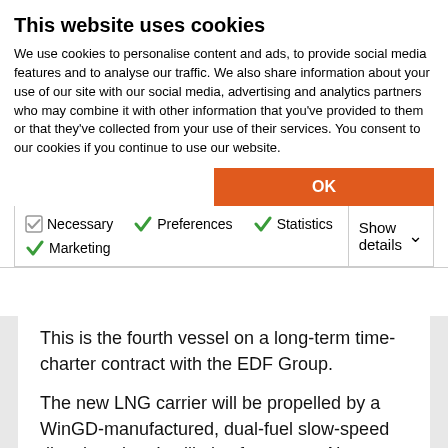This website uses cookies
We use cookies to personalise content and ads, to provide social media features and to analyse our traffic. We also share information about your use of our site with our social media, advertising and analytics partners who may combine it with other information that you've provided to them or that they've collected from your use of their services. You consent to our cookies if you continue to use our website.
OK
Necessary  Preferences  Statistics  Marketing  Show details
This is the fourth vessel on a long-term time-charter contract with the EDF Group.
The new LNG carrier will be propelled by a WinGD-manufactured, dual-fuel slow-speed diesel engine. It will also feature an Air Liquide's turbo-brayton refrigeration system that can tap